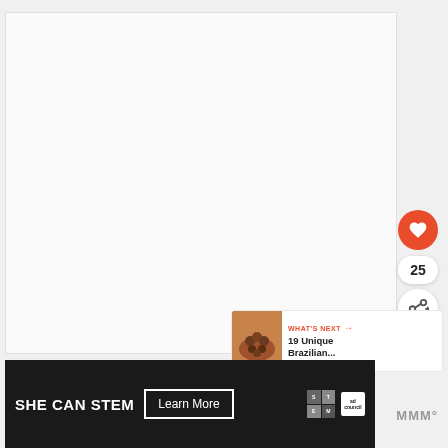[Figure (screenshot): Large white/light gray blank content area representing a web article page]
[Figure (illustration): Orange/red circular like button with heart icon, count badge showing 25, and share button below]
25
[Figure (screenshot): WHAT'S NEXT panel with thumbnail image and text '19 Unique Brazilian...']
WHAT'S NEXT → 19 Unique Brazilian...
[Figure (illustration): Advertisement banner: SHE CAN STEM | Learn More | STEM logo | Ad Council logo]
SHE CAN STEM  Learn More
MMM°